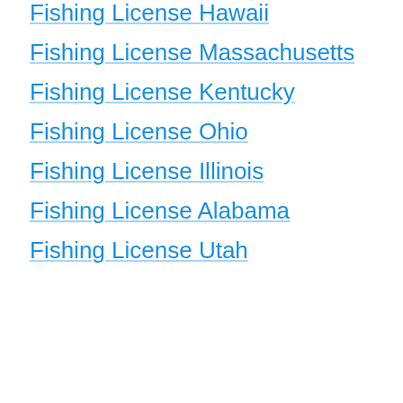Fishing License Hawaii
Fishing License Massachusetts
Fishing License Kentucky
Fishing License Ohio
Fishing License Illinois
Fishing License Alabama
Fishing License Utah